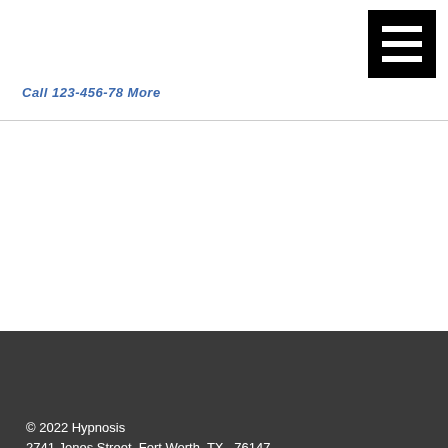— navigation links (partially visible)
[Figure (screenshot): Hamburger menu button (three horizontal white bars on black background) in top-right corner of page header]
Select Menu
© 2022 Hypnosis
2741 Jones Street, Fort Worth, TX , 76147